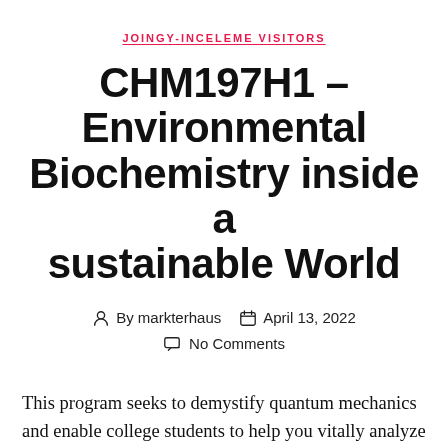JOINGY-INCELEME VISITORS
CHM197H1 – Environmental Biochemistry inside a sustainable World
By markterhaus   April 13, 2022   No Comments
This program seeks to demystify quantum mechanics and enable college students to help you vitally analyze popular depictions away from quantum phenomena